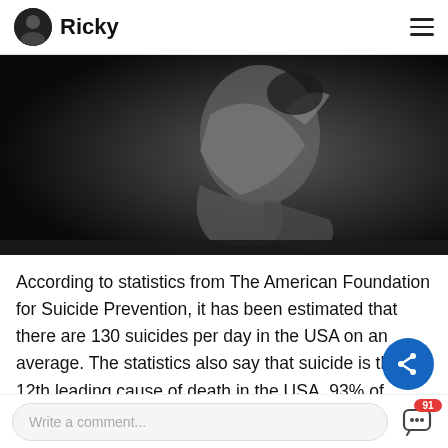Ricky
[Figure (photo): Black and white photo of a person sitting, cropped at torso/legs level, dark moody background]
According to statistics from The American Foundation for Suicide Prevention, it has been estimated that there are 130 suicides per day in the USA on an average. The statistics also say that suicide is the 12th leading cause of death in the USA. 93% of adults surveyed in the USA believed that suicide can be prevented.
Read full story›
Write a comment...